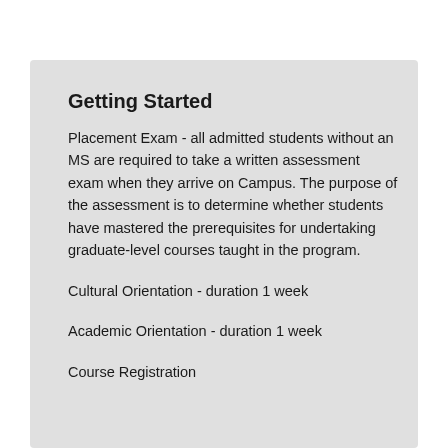Getting Started
Placement Exam - all admitted students without an MS are required to take a written assessment exam when they arrive on Campus. The purpose of the assessment is to determine whether students have mastered the prerequisites for undertaking graduate-level courses taught in the program.
Cultural Orientation - duration 1 week
Academic Orientation - duration 1 week
Course Registration